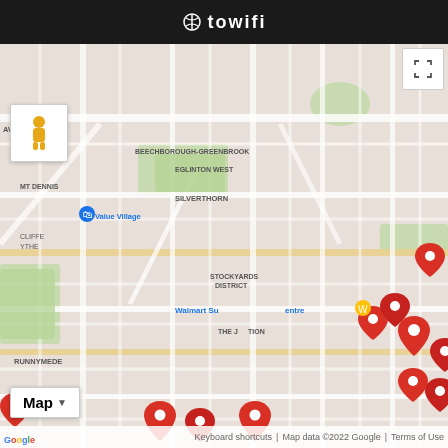towifi
[Figure (map): Google Maps view of Toronto neighborhoods including York, Cedarvale Park, Beechborough-Greenbrook, Eglinton West, Silverthorn, Mt Dennis, Cliffe Wythe, Stockyards District, The Junction, Runnymede, Wallace Emerson, Junction Triangle, Grove Park, and Museum of area. Numerous red map pin markers are scattered across the map indicating WiFi hotspot locations. A green marker indicates Earlscourt Park. Map controls include a pegman icon, Map type selector, and fullscreen button.]
Keyboard shortcuts | Map data ©2022 Google | Terms of Use